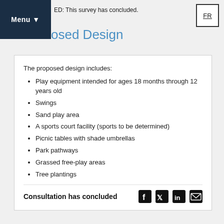ED: This survey has concluded.
Menu ▼
FR
osed Design
The proposed design includes:
Play equipment intended for ages 18 months through 12 years old
Swings
Sand play area
A sports court facility (sports to be determined)
Picnic tables with shade umbrellas
Park pathways
Grassed free-play areas
Tree plantings
Consultation has concluded